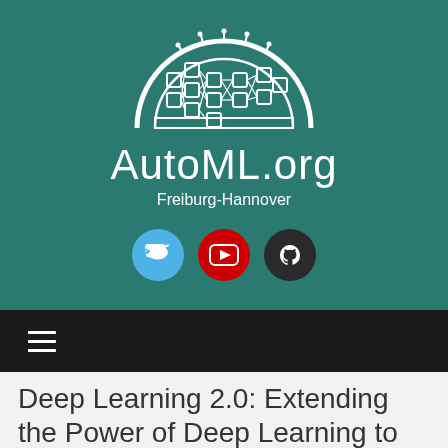[Figure (logo): AutoML.org semicircular neural network architecture logo in white outline on teal background]
AutoML.org
Freiburg-Hannover
[Figure (illustration): Three social media icons: Twitter (blue circle), YouTube (red circle), GitHub (dark circle)]
≡ (hamburger menu)
Deep Learning 2.0: Extending the Power of Deep Learning to the Meta-Level